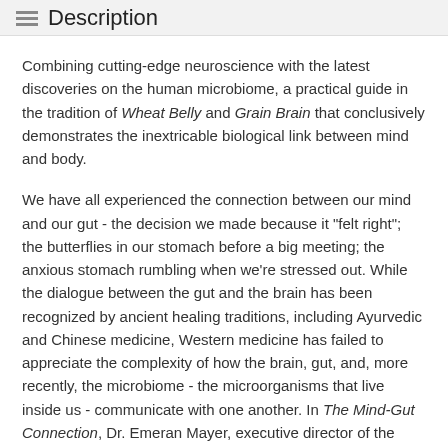Description
Combining cutting-edge neuroscience with the latest discoveries on the human microbiome, a practical guide in the tradition of Wheat Belly and Grain Brain that conclusively demonstrates the inextricable biological link between mind and body.
We have all experienced the connection between our mind and our gut - the decision we made because it "felt right"; the butterflies in our stomach before a big meeting; the anxious stomach rumbling when we're stressed out. While the dialogue between the gut and the brain has been recognized by ancient healing traditions, including Ayurvedic and Chinese medicine, Western medicine has failed to appreciate the complexity of how the brain, gut, and, more recently, the microbiome - the microorganisms that live inside us - communicate with one another. In The Mind-Gut Connection, Dr. Emeran Mayer, executive director of the UCLA Oppenheimer Center for Neurobiology of Stress and